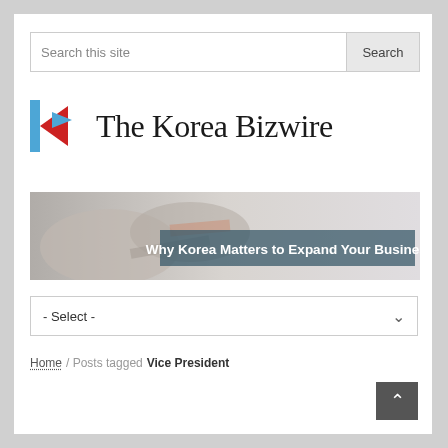[Figure (screenshot): Search bar with text input field 'Search this site' and a 'Search' button on the right]
[Figure (logo): The Korea Bizwire logo: stylized K icon in red and blue with serif text 'The Korea Bizwire']
[Figure (photo): Banner image showing hands working on documents with bold text overlay: 'Why Korea Matters to Expand Your Business']
[Figure (screenshot): Dropdown selector showing '- Select -' option with down arrow]
Home / Posts tagged Vice President